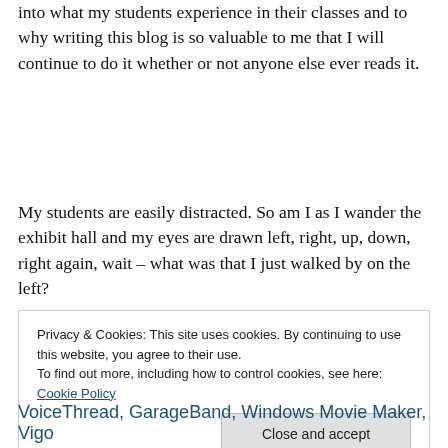into what my students experience in their classes and to why writing this blog is so valuable to me that I will continue to do it whether or not anyone else ever reads it.
My students are easily distracted. So am I as I wander the exhibit hall and my eyes are drawn left, right, up, down, right again, wait – what was that I just walked by on the left?
Privacy & Cookies: This site uses cookies. By continuing to use this website, you agree to their use.
To find out more, including how to control cookies, see here: Cookie Policy
Close and accept
VoiceThread, GarageBand, Windows Movie Maker, Vigo